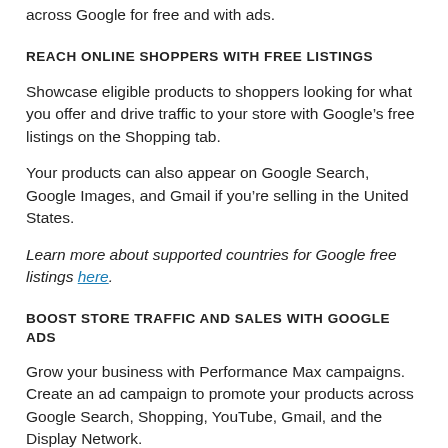across Google for free and with ads.
REACH ONLINE SHOPPERS WITH FREE LISTINGS
Showcase eligible products to shoppers looking for what you offer and drive traffic to your store with Google’s free listings on the Shopping tab.
Your products can also appear on Google Search, Google Images, and Gmail if you’re selling in the United States.
Learn more about supported countries for Google free listings here.
BOOST STORE TRAFFIC AND SALES WITH GOOGLE ADS
Grow your business with Performance Max campaigns. Create an ad campaign to promote your products across Google Search, Shopping, YouTube, Gmail, and the Display Network.